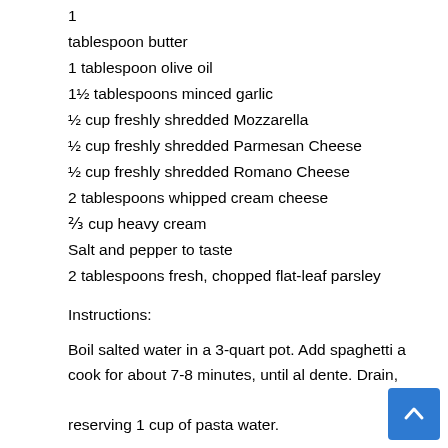1
tablespoon butter
1 tablespoon olive oil
1½ tablespoons minced garlic
½ cup freshly shredded Mozzarella
½ cup freshly shredded Parmesan Cheese
½ cup freshly shredded Romano Cheese
2 tablespoons whipped cream cheese
⅔ cup heavy cream
Salt and pepper to taste
2 tablespoons fresh, chopped flat-leaf parsley
Instructions:
Boil salted water in a 3-quart pot. Add spaghetti and cook for about 7-8 minutes, until al dente. Drain, reserving 1 cup of pasta water.